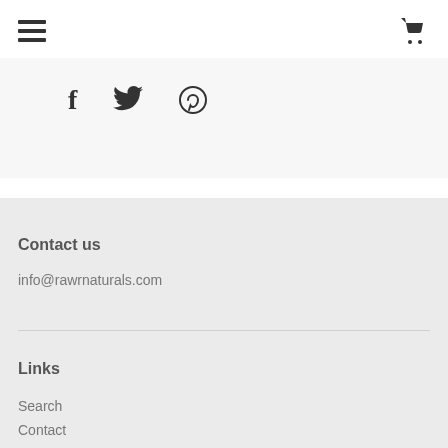hamburger menu icon and shopping cart icon
[Figure (other): Social media share icons: Facebook, Twitter, Pinterest on a light grey background]
Contact us
info@rawrnaturals.com
Links
Search
Contact